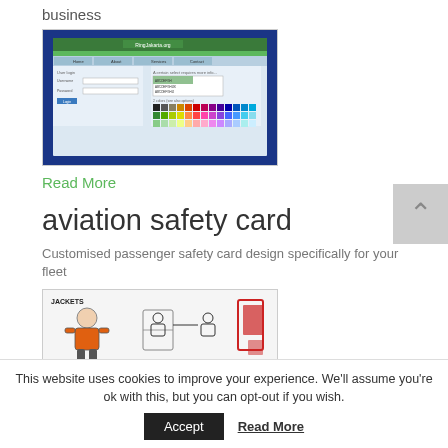business
[Figure (screenshot): Screenshot of a web-based software interface with a dark blue background, a form with fields (User login, Username, Password), a green navigation bar, and a color palette selection area.]
Read More
aviation safety card
Customised passenger safety card design specifically for your fleet
[Figure (illustration): Illustration from an aviation safety card showing a figure wearing a life jacket (orange vest), seated passenger diagrams, and safety card graphics with red and black outlines on a white background. Text 'JACKETS' visible at top left.]
This website uses cookies to improve your experience. We'll assume you're ok with this, but you can opt-out if you wish.
Accept
Read More